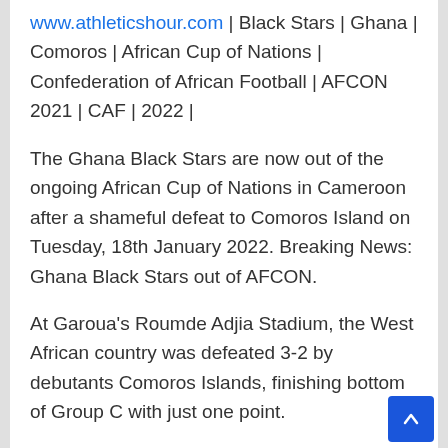www.athleticshour.com | Black Stars | Ghana | Comoros | African Cup of Nations | Confederation of African Football | AFCON 2021 | CAF | 2022 |
The Ghana Black Stars are now out of the ongoing African Cup of Nations in Cameroon after a shameful defeat to Comoros Island on Tuesday, 18th January 2022. Breaking News: Ghana Black Stars out of AFCON.
At Garoua's Roumde Adjia Stadium, the West African country was defeated 3-2 by debutants Comoros Islands, finishing bottom of Group C with just one point.
El Fardou is a fictional character. Ben Mote...